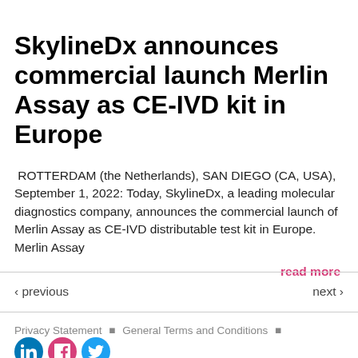SkylineDx announces commercial launch Merlin Assay as CE-IVD kit in Europe
ROTTERDAM (the Netherlands), SAN DIEGO (CA, USA), September 1, 2022: Today, SkylineDx, a leading molecular diagnostics company, announces the commercial launch of Merlin Assay as CE-IVD distributable test kit in Europe. Merlin Assay
read more
‹ previous   next ›
Privacy Statement • General Terms and Conditions •